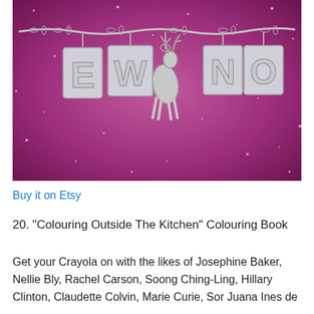[Figure (photo): A silver charm bracelet/necklace with letter charms spelling 'EW', a deer charm, and 'NO' on a sparkly purple/magenta background.]
Buy it on Etsy
20. “Colouring Outside The Kitchen” Colouring Book
Get your Crayola on with the likes of Josephine Baker, Nellie Bly, Rachel Carson, Soong Ching-Ling, Hillary Clinton, Claudette Colvin, Marie Curie, Sor Juana Ines de